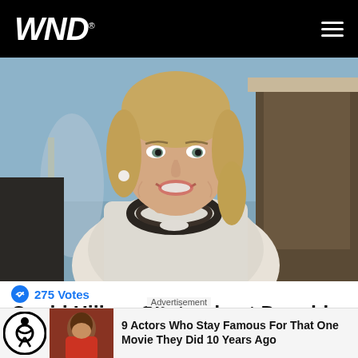WND
[Figure (photo): A smiling woman with blonde hair wearing a white tweed jacket and dark beaded necklace, indoors with a blue wall and chandelier in background.]
275 Votes
Could Hillary Clinton beat Donald Trump in the next presidential election?
Advertisement
9 Actors Who Stay Famous For That One Movie They Did 10 Years Ago